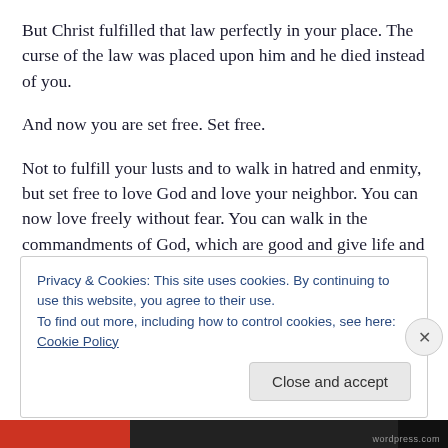But Christ fulfilled that law perfectly in your place. The curse of the law was placed upon him and he died instead of you.
And now you are set free. Set free.
Not to fulfill your lusts and to walk in hatred and enmity, but set free to love God and love your neighbor. You can now love freely without fear. You can walk in the commandments of God, which are good and give life and freedom of conscience. And when your conscience is free
Privacy & Cookies: This site uses cookies. By continuing to use this website, you agree to their use.
To find out more, including how to control cookies, see here: Cookie Policy
Close and accept